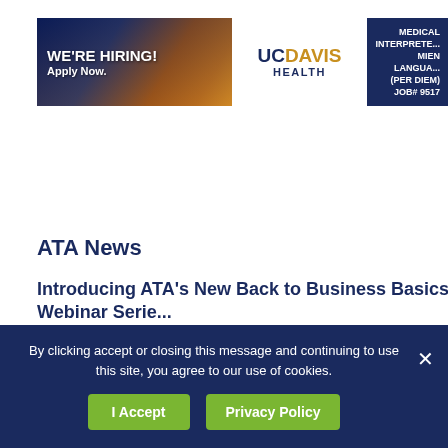[Figure (photo): UC Davis Health hiring banner ad. Left side shows photo of buildings with 'WE'RE HIRING! Apply Now.' text overlay. Middle shows UC Davis Health logo in white. Right side has dark navy background with text 'MEDICAL INTERPRETER MIEN LANGUAGE (PER DIEM) JOB# 9517']
ATA News
Introducing ATA's New Back to Business Basics Webinar Serie...
This is the first webinar in ATA's Back to Business Basics...
By clicking accept or closing this message and continuing to use this site, you agree to our use of cookies.